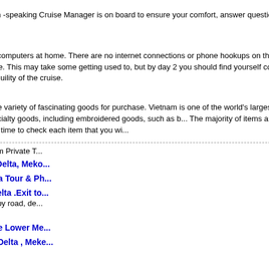Cruise Manager
An experienced, English / French -speaking Cruise Manager is on board to ensure your comfort, answer questions and make yo...
Telephones
We suggest that you leave your computers at home. There are no internet connections or phone hookups on the barges for checking email or using Skype. This may take some getting used to, but by day 2 you should find yourself completely absorbed in the beauty and tranquility of the cruise.
Shopping
Vietnam offers the traveler a wide variety of fascinating goods for purchase. Vietnam is one of the world's largest exporters of handicrafts and specialty goods, including embroidered goods, such as b... The majority of items are handmade and ma... Take a little time to check each item that you wi...
Vietnam Package Tours - Vietnam Private T...
$265 Cycling in the Mekong Delta, Meko...
$360 Combined Mekong Delta Tour & Ph...
$200 Daily Trip To Mekong Delta .Exit to... Tour Highlights: No more bumpy road, de... Sap River
$205 Enter Viet Nam From the Lower Me...
$270 Cycling in the MeKong Delta , Meke...